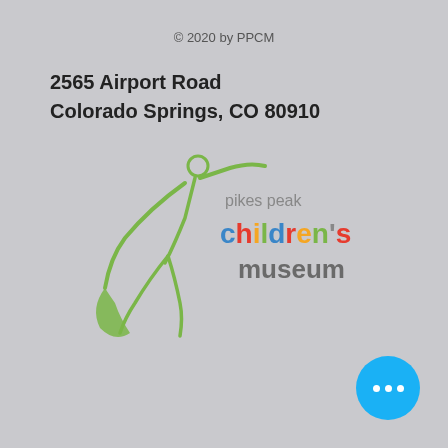© 2020 by PPCM
2565 Airport Road
Colorado Springs, CO 80910
[Figure (logo): Pikes Peak Children's Museum logo — green figure with outstretched arms and legs, text 'pikes peak' in gray, 'children's' in multicolor (blue, red, yellow, green, orange), 'museum' in gray-brown]
[Figure (other): Blue circular UI button with three white dots (ellipsis/more options)]